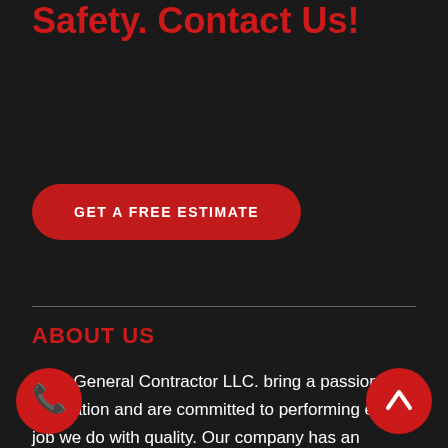Safety. Contact Us!
GET A FREE ESTIMATE
ABOUT US
NGS General Contractor LLC. bring a passion for innovation and are committed to performing every job we do with quality. Our company has an unwavering dedication to personal and professional integrity adding exceptional value to all of our clients. We have a great highly